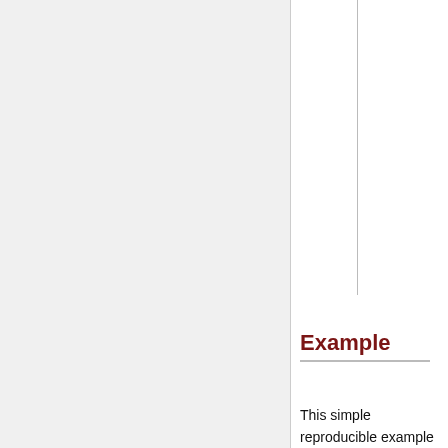Example
This simple reproducible example wraps up the just explained steps altogether. It is just a button whose label is changed by